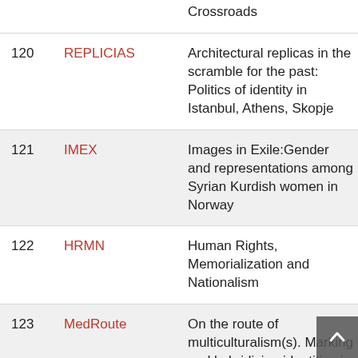| # | Code | Title |
| --- | --- | --- |
|  |  | Crossroads |
| 120 | REPLICIAS | Architectural replicas in the scramble for the past: Politics of identity in Istanbul, Athens, Skopje |
| 121 | IMEX | Images in Exile:Gender and representations among Syrian Kurdish women in Norway |
| 122 | HRMN | Human Rights, Memorialization and Nationalism |
| 123 | MedRoute | On the route of multiculturalism(s). Marking and hybridizing identities in the late 17th and early 18th… |